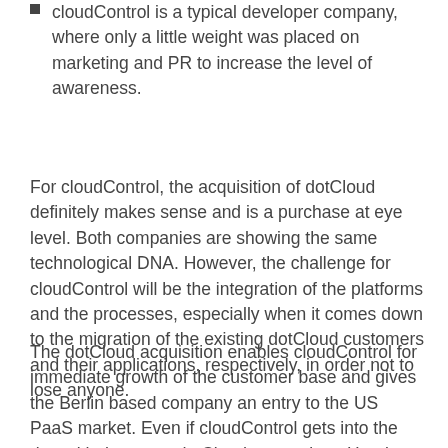cloudControl is a typical developer company, where only a little weight was placed on marketing and PR to increase the level of awareness.
For cloudControl, the acquisition of dotCloud definitely makes sense and is a purchase at eye level. Both companies are showing the same technological DNA. However, the challenge for cloudControl will be the integration of the platforms and the processes, especially when it comes down to the migration of the existing dotCloud customers and their applications, respectively, in order not to lose anyone.
The dotCloud acquisition enables cloudControl for immediate growth of the customer base and gives the Berlin based company an entry to the US PaaS market. Even if cloudControl gets into the ring with the same dotCloud competitors Heroku, EngineYard etc., the US market comes with huge opportunities. Eventually,